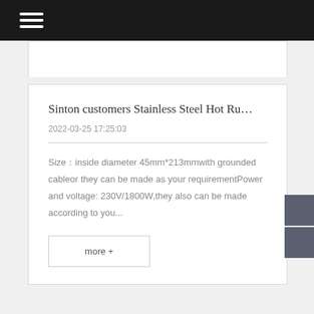Sinton customers Stainless Steel Hot Ru…
2022-03-25 17:25:03
Size：inside diameter 45mm*213mmwith grounded cableor they can be made as your requirementPower and voltage: 230V/1800W,they also can be made according to you...
more +